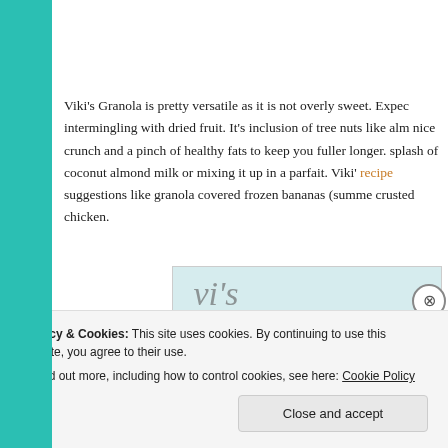Viki's Granola is pretty versatile as it is not overly sweet. Expect oats intermingling with dried fruit. It's inclusion of tree nuts like alm nice crunch and a pinch of healthy fats to keep you fuller longer. splash of coconut almond milk or mixing it up in a parfait. Viki' recipe suggestions like granola covered frozen bananas (summer crusted chicken.
[Figure (photo): Partial image of a product label or packaging showing stylized cursive text, light blue/teal background]
Privacy & Cookies: This site uses cookies. By continuing to use this website, you agree to their use.
To find out more, including how to control cookies, see here: Cookie Policy
Close and accept